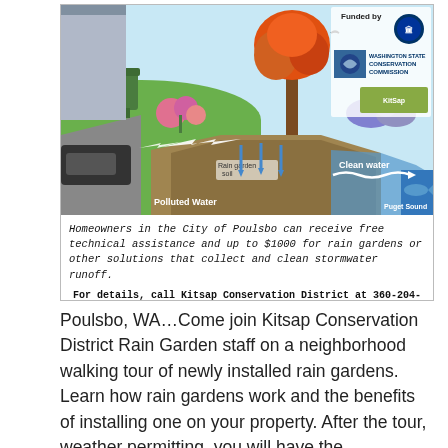[Figure (infographic): Rain garden infographic showing polluted water flowing into a rain garden soil cell, filtering through to clean water that drains to Puget Sound. Labels include 'Rain garden soil', 'Polluted Water', 'Clean water', 'Puget Sound'. Funded by logos: City of Poulsbo, Washington State Conservation Commission, and another organization.]
Homeowners in the City of Poulsbo can receive free technical assistance and up to $1000 for rain gardens or other solutions that collect and clean stormwater runoff.
For details, call Kitsap Conservation District at 360-204-5529.
Find us on Facebook    www.kitsapcd.org
Poulsbo, WA…Come join Kitsap Conservation District Rain Garden staff on a neighborhood walking tour of newly installed rain gardens. Learn how rain gardens work and the benefits of installing one on your property. After the tour, weather permitting, you will have the opportunity to help plant a rain garden. Bring rain gear, walking shoes and […]